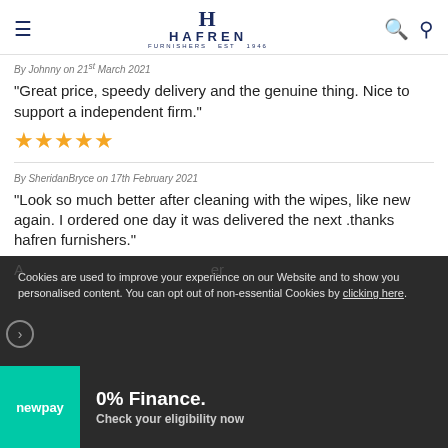HAFREN Furnishers (navigation header)
By Johnny on 21st March 2021
"Great price, speedy delivery and the genuine thing. Nice to support a independent firm."
[Figure (other): 5 gold stars rating]
By SheridanBryce on 17th February 2021
"Look so much better after cleaning with the wipes, like new again. I ordered one day it was delivered the next .thanks hafren furnishers."
[Figure (other): 5 gold/dark stars rating (partially visible)]
Cookies are used to improve your experience on our Website and to show you personalised content. You can opt out of non-essential Cookies by clicking here.
0% Finance. Check your eligibility now